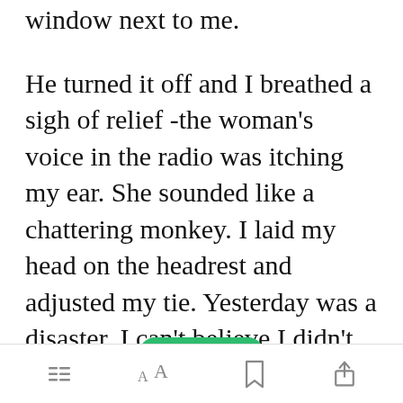window next to me.
He turned it off and I breathed a sigh of relief -the woman's voice in the radio was itching my ear. She sounded like a chattering monkey. I laid my head on the headrest and adjusted my tie. Yesterday was a disaster, I can't believe I didn't get any reasonable answers from that fool with braided beards.
[Figure (screenshot): Open in app green button overlay at bottom of text]
Toolbar with menu, font size, bookmark, and share icons